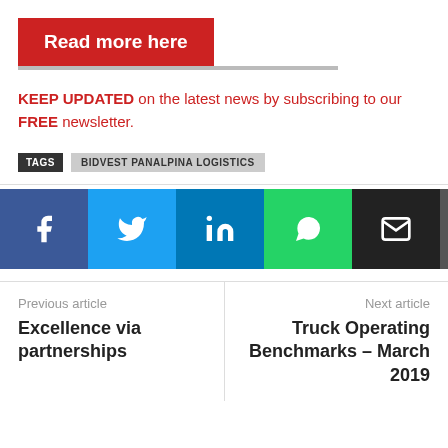Read more here
KEEP UPDATED on the latest news by subscribing to our FREE newsletter.
TAGS  BIDVEST PANALPINA LOGISTICS
[Figure (infographic): Social sharing buttons: Facebook (blue), Twitter (light blue), LinkedIn (dark blue), WhatsApp (green), Email (black), Print (dark grey), Telegram (blue), Pinterest (red)]
Previous article
Excellence via partnerships
Next article
Truck Operating Benchmarks – March 2019